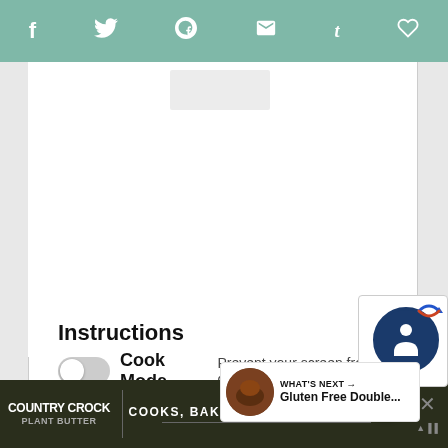Social share bar with icons: f (Facebook), Twitter, Pinterest, Email, Tumblr, Heart (Save)
[Figure (screenshot): Blank white content area with left and right gray sidebar strips, representing a recipe webpage mid-scroll]
[Figure (screenshot): Accessibility widget button: circular dark blue icon with person symbol and blue arrow, overlaid on page]
Cook Mode  Prevent your screen from going dark  46
Instructions
1. In a medium saucepan, heat water and cook brown rice macaroni according to package directions.
[Figure (screenshot): WHAT'S NEXT callout box with thumbnail of chocolate dessert and title: Gluten Free Double...]
[Figure (screenshot): Country Crock Plant Butter advertisement banner: COOKS, BAKES, TASTES LIKE BUTTER]